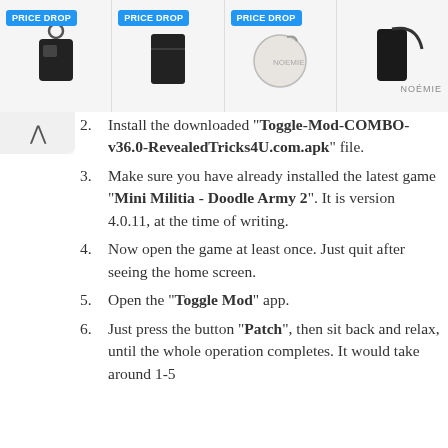[Figure (other): Advertisement banner showing four fashion accessories (keychain wallet, card holder, round coin purse, phone crossbody case) with PRICE DROP badges in blue. NOÉMIE brand label on right.]
2. Install the downloaded "Toggle-Mod-COMBO-v36.0-RevealedTricks4U.com.apk" file.
3. Make sure you have already installed the latest game "Mini Militia - Doodle Army 2". It is version 4.0.11, at the time of writing.
4. Now open the game at least once. Just quit after seeing the home screen.
5. Open the "Toggle Mod" app.
6. Just press the button "Patch", then sit back and relax, until the whole operation completes. It would take around 1-5